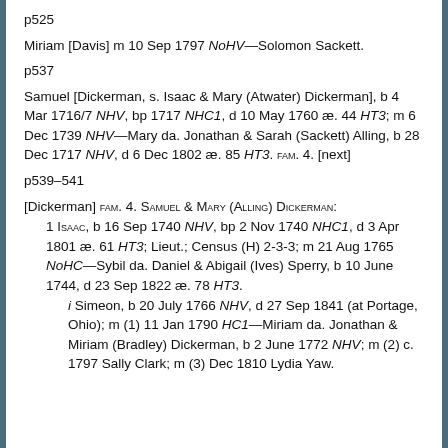p525
Miriam [Davis] m 10 Sep 1797 NoHV—Solomon Sackett.
p537
Samuel [Dickerman, s. Isaac & Mary (Atwater) Dickerman], b 4 Mar 1716/7 NHV, bp 1717 NHC1, d 10 May 1760 æ. 44 HT3; m 6 Dec 1739 NHV—Mary da. Jonathan & Sarah (Sackett) Alling, b 28 Dec 1717 NHV, d 6 Dec 1802 æ. 85 HT3. FAM. 4. [next]
p539–541
[Dickerman] FAM. 4. SAMUEL & MARY (ALLING) DICKERMAN: 1 ISAAC, b 16 Sep 1740 NHV, bp 2 Nov 1740 NHC1, d 3 Apr 1801 æ. 61 HT3; Lieut.; Census (H) 2-3-3; m 21 Aug 1765 NoHC—Sybil da. Daniel & Abigail (Ives) Sperry, b 10 June 1744, d 23 Sep 1822 æ. 78 HT3. i Simeon, b 20 July 1766 NHV, d 27 Sep 1841 (at Portage, Ohio); m (1) 11 Jan 1790 HC1—Miriam da. Jonathan & Miriam (Bradley) Dickerman, b 2 June 1772 NHV; m (2) c. 1797 Sally Clark; m (3) Dec 1810 Lydia Yaw.